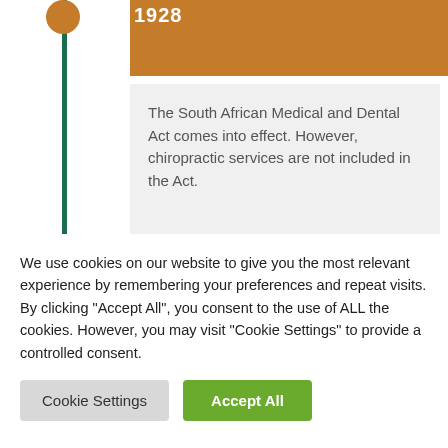1928
The South African Medical and Dental Act comes into effect. However, chiropractic services are not included in the Act.
1940
1940
We use cookies on our website to give you the most relevant experience by remembering your preferences and repeat visits. By clicking "Accept All", you consent to the use of ALL the cookies. However, you may visit "Cookie Settings" to provide a controlled consent.
Cookie Settings
Accept All